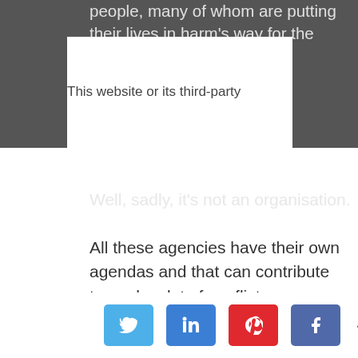people, many of whom are putting their lives in harm's way for the
This website or its third-party
Well, sadly, it's not an organisation. All these agencies have their own agendas and that can contribute towards a lot of conflict.
Managing Conflicting Agendas
The company who represents the hostage may want the ransom paid, and ASAP. And I'm sure that in most